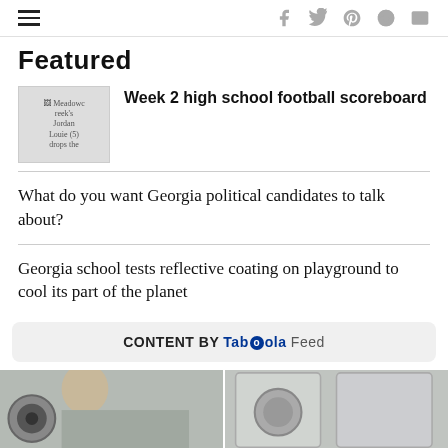hamburger menu | social icons: f, twitter, pinterest, reddit, mail
Featured
[Figure (photo): Thumbnail image of Meadowcreek's Jordan Louie (5) drops the ball]
Week 2 high school football scoreboard
What do you want Georgia political candidates to talk about?
Georgia school tests reflective coating on playground to cool its part of the planet
CONTENT BY Taboola Feed
[Figure (photo): Bottom strip showing two images side by side of a person near washing machines/appliances]